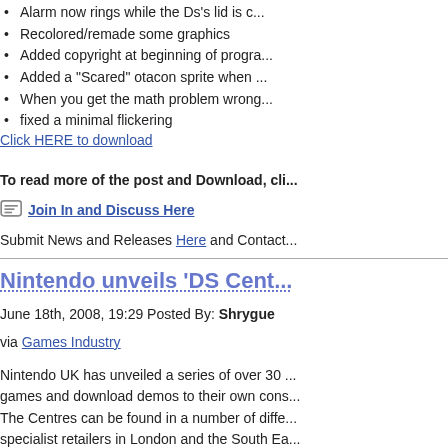Alarm now rings while the Ds's lid is c...
Recolored/remade some graphics
Added copyright at beginning of progra...
Added a "Scared" otacon sprite when ...
When you get the math problem wrong...
fixed a minimal flickering
Click HERE to download
To read more of the post and Download, cli...
Join In and Discuss Here
Submit News and Releases Here and Contact...
Nintendo unveils 'DS Cent...
June 18th, 2008, 19:29 Posted By: Shrygue
via Games Industry
Nintendo UK has unveiled a series of over 30 ... games and download demos to their own cons...
The Centres can be found in a number of diffe... specialist retailers in London and the South Ea...
Titles available to demo at launch include a nu... Phantom Hourglass, with others available to d...